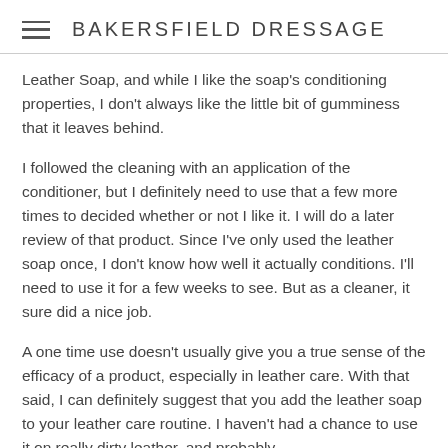BAKERSFIELD DRESSAGE
Leather Soap, and while I like the soap's conditioning properties, I don't always like the little bit of gumminess that it leaves behind.
I followed the cleaning with an application of the conditioner, but I definitely need to use that a few more times to decided whether or not I like it. I will do a later review of that product. Since I've only used the leather soap once, I don't know how well it actually conditions. I'll need to use it for a few weeks to see. But as a cleaner, it sure did a nice job.
A one time use doesn't usually give you a true sense of the efficacy of a product, especially in leather care. With that said, I can definitely suggest that you add the leather soap to your leather care routine. I haven't had a chance to use it on really dirty leather, and probably